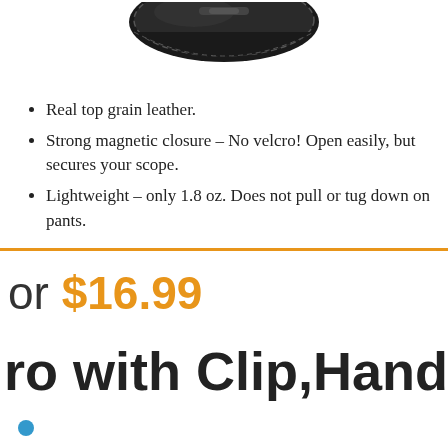[Figure (photo): Partial view of a black leather case/pouch product at top of page]
Real top grain leather.
Strong magnetic closure – No velcro! Open easily, but secures your scope.
Lightweight – only 1.8 oz. Does not pull or tug down on pants.
or $16.99
ro with Clip,Hand